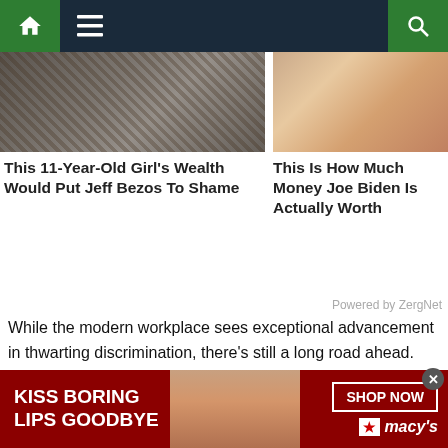Navigation bar with home, menu, and search icons
[Figure (photo): Thumbnail image of an old black-and-white photo, left article]
[Figure (photo): Thumbnail image of Joe Biden, right article]
This 11-Year-Old Girl's Wealth Would Put Jeff Bezos To Shame
This Is How Much Money Joe Biden Is Actually Worth
Powered by ZergNet
While the modern workplace sees exceptional advancement in thwarting discrimination, there's still a long road ahead. Discrimination comes in various forms, but one less-talked-about form is ageism. It can apply to younger and older workers, though the older demographic is the most common victim. Here are signs to be aware of in your workplace.
Understanding Ageism
[Figure (photo): Macy's advertisement banner: KISS BORING LIPS GOODBYE with a woman's face and red lips, SHOP NOW button, Macy's logo]